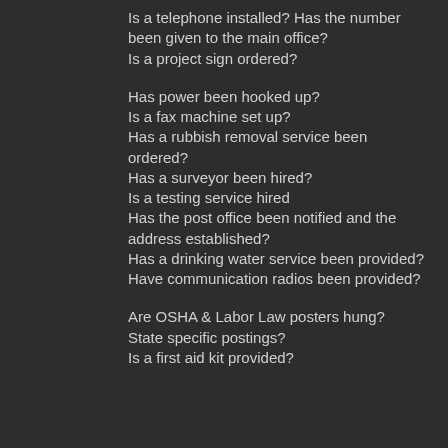Is a telephone installed? Has the number been given to the main office?
Is a project sign ordered?
Has power been hooked up?
Is a fax machine set up?
Has a rubbish removal service been ordered?
Has a surveyor been hired?
Is a testing service hired
Has the post office been notified and the address established?
Has a drinking water service been provided?
Have communication radios been provided?
Are OSHA & Labor Law posters hung?
State specific postings?
Is a first aid kit provided?